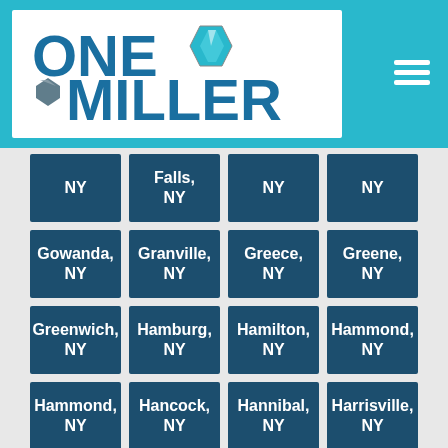[Figure (logo): One Miller logo with stylized diamond/gem icons and teal background header with hamburger menu icon]
NY
Falls, NY
NY
NY
Gowanda, NY
Granville, NY
Greece, NY
Greene, NY
Greenwich, NY
Hamburg, NY
Hamilton, NY
Hammond, NY
Hammond, NY
Hancock, NY
Hannibal, NY
Harrisville, NY
Henrietta,
Herkimer,
Heuvelton
Hobart,